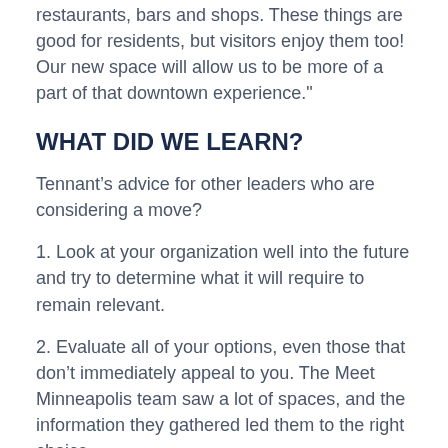restaurants, bars and shops. These things are good for residents, but visitors enjoy them too! Our new space will allow us to be more of a part of that downtown experience."
WHAT DID WE LEARN?
Tennant’s advice for other leaders who are considering a move?
1. Look at your organization well into the future and try to determine what it will require to remain relevant.
2. Evaluate all of your options, even those that don’t immediately appeal to you. The Meet Minneapolis team saw a lot of spaces, and the information they gathered led them to the right choice.
3. Build consensus along the way. Because the team went through such an intentional process and did thorough due diligence, the board had complete confidence in the final decision.